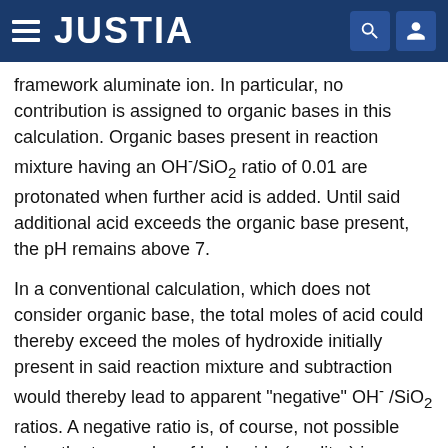JUSTIA
framework aluminate ion. In particular, no contribution is assigned to organic bases in this calculation. Organic bases present in reaction mixture having an OH.sup.-/SiO.sub.2 ratio of 0.01 are protonated when further acid is added. Until said additional acid exceeds the organic base present, the pH remains above 7.
In a conventional calculation, which does not consider organic base, the total moles of acid could thereby exceed the moles of hydroxide initially present in said reaction mixture and subtraction would thereby lead to apparent "negative" OH.sup.- /SiO.sub.2 ratios. A negative ratio is, of course, not possible since the true moles of hydroxide (per liter) in an aqueous mixture are always positive and equal to 10.sup.-14 divided by the moles per liter of acid.